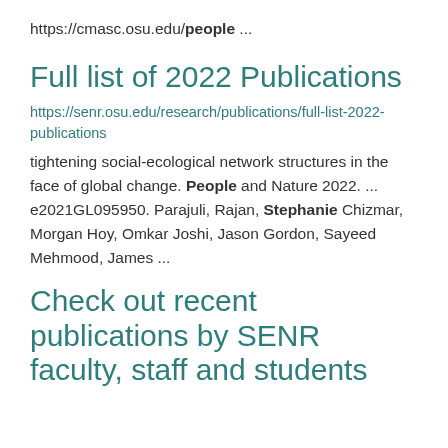https://cmasc.osu.edu/people ...
Full list of 2022 Publications
https://senr.osu.edu/research/publications/full-list-2022-publications
tightening social-ecological network structures in the face of global change. People and Nature 2022. ... e2021GL095950. Parajuli, Rajan, Stephanie Chizmar, Morgan Hoy, Omkar Joshi, Jason Gordon, Sayeed Mehmood, James ...
Check out recent publications by SENR faculty, staff and students